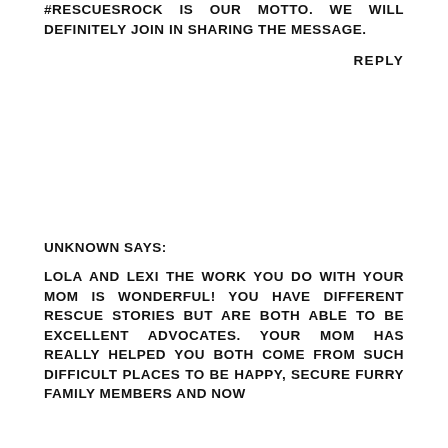#RESCUESROCK IS OUR MOTTO. WE WILL DEFINITELY JOIN IN SHARING THE MESSAGE.
REPLY
UNKNOWN SAYS:
LOLA AND LEXI THE WORK YOU DO WITH YOUR MOM IS WONDERFUL! YOU HAVE DIFFERENT RESCUE STORIES BUT ARE BOTH ABLE TO BE EXCELLENT ADVOCATES. YOUR MOM HAS REALLY HELPED YOU BOTH COME FROM SUCH DIFFICULT PLACES TO BE HAPPY, SECURE FURRY FAMILY MEMBERS AND NOW